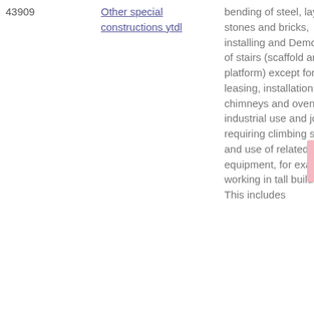| Code | Name | Description |
| --- | --- | --- |
| 43909 | Other special constructions ytdl | bending of steel, laying stones and bricks, installing and Demolition of stairs (scaffold and platform) except for leasing, installation of chimneys and ovens for industrial use and jobs requiring climbing skills and use of related equipment, for example working in tall buildings. This includes |